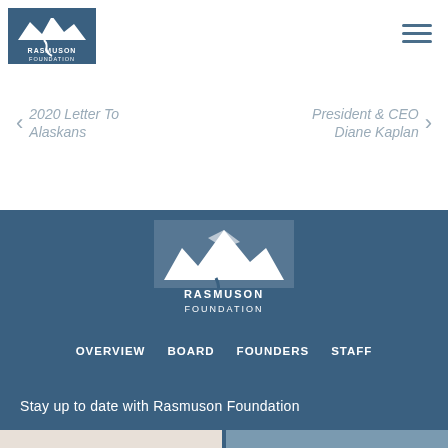[Figure (logo): Rasmuson Foundation logo - top left, showing mountains and river with text RASMUSON FOUNDATION]
[Figure (other): Hamburger menu icon - three horizontal lines top right]
< 2020 Letter To Alaskans
President & CEO Diane Kaplan >
[Figure (logo): Rasmuson Foundation large centered logo on blue background - mountains/river with RASMUSON FOUNDATION text]
OVERVIEW    BOARD    FOUNDERS    STAFF
Stay up to date with Rasmuson Foundation